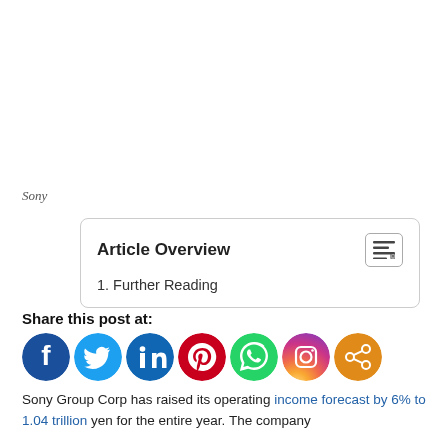Sony
| Article Overview |  |
| 1. Further Reading |  |
Share this post at:
[Figure (other): Row of social media share icons: Facebook (dark blue), Twitter (light blue), LinkedIn (dark blue), Pinterest (red), WhatsApp (green), Instagram (gradient purple-orange), Share (orange)]
Sony Group Corp has raised its operating income forecast by 6% to 1.04 trillion yen for the entire year. The company